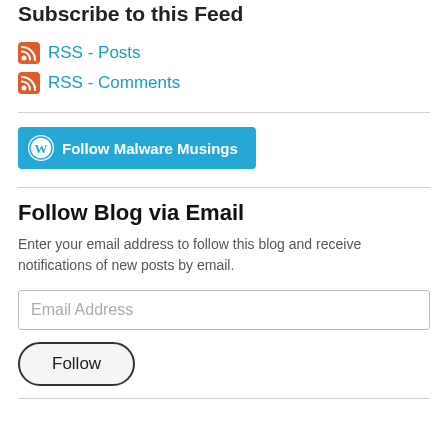Subscribe to this Feed
RSS - Posts
RSS - Comments
[Figure (other): Follow Malware Musings button with WordPress logo]
Follow Blog via Email
Enter your email address to follow this blog and receive notifications of new posts by email.
Email Address
Follow